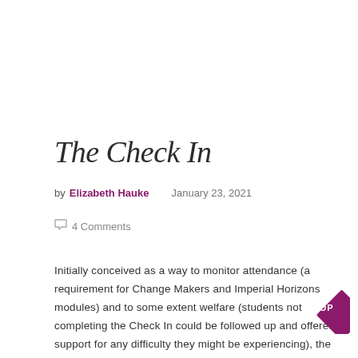The Check In
by Elizabeth Hauke   January 23, 2021
💬 4 Comments
Initially conceived as a way to monitor attendance (a requirement for Change Makers and Imperial Horizons modules) and to some extent welfare (students not completing the Check In could be followed up and offered support for any difficulty they might be experiencing), the Check In has been a hugely successful part of our new learning design